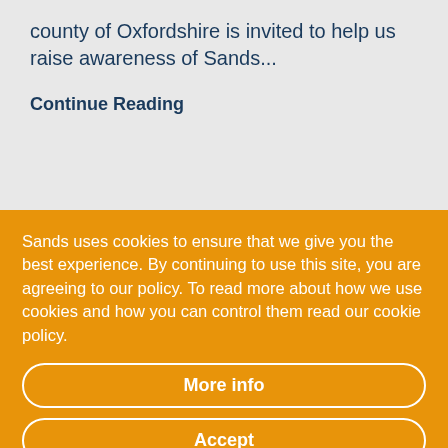county of Oxfordshire is invited to help us raise awareness of Sands...
Continue Reading
Sands uses cookies to ensure that we give you the best experience. By continuing to use this site, you are agreeing to our policy. To read more about how we use cookies and how you can control them read our cookie policy.
More info
Accept
No, thanks